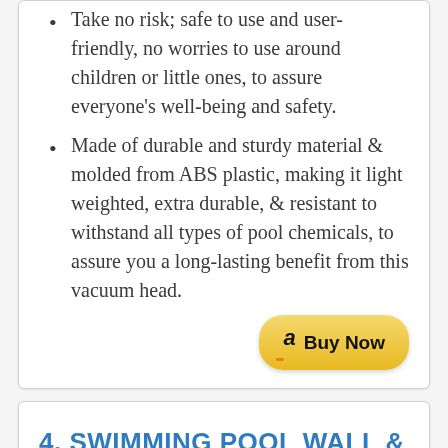Take no risk; safe to use and user-friendly, no worries to use around children or little ones, to assure everyone's well-being and safety.
Made of durable and sturdy material & molded from ABS plastic, making it light weighted, extra durable, & resistant to withstand all types of pool chemicals, to assure you a long-lasting benefit from this vacuum head.
[Figure (other): Buy Now button with Amazon logo]
4. SWIMMING POOL WALL & TILE BRUSH
[Figure (photo): Partial image of a swimming pool wall and tile brush product]